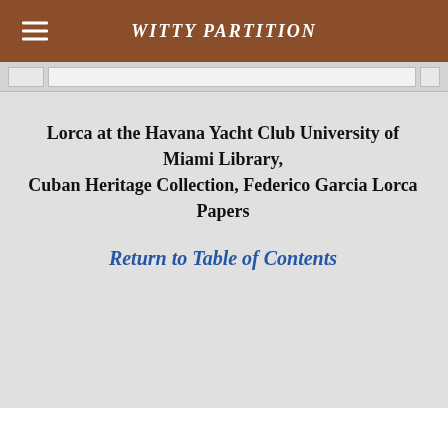WITTY PARTITION
Lorca at the Havana Yacht Club University of Miami Library,
Cuban Heritage Collection, Federico Garcia Lorca Papers
Return to Table of Contents